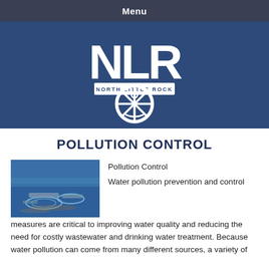Menu
[Figure (logo): North Little Rock city logo — white NLR letters with ship wheel and anchor emblem on dark blue background]
POLLUTION CONTROL
[Figure (photo): Aerial photo of water pollution / industrial waste site with circular structures in blue water]
Pollution Control
Water pollution prevention and control measures are critical to improving water quality and reducing the need for costly wastewater and drinking water treatment. Because water pollution can come from many different sources, a variety of